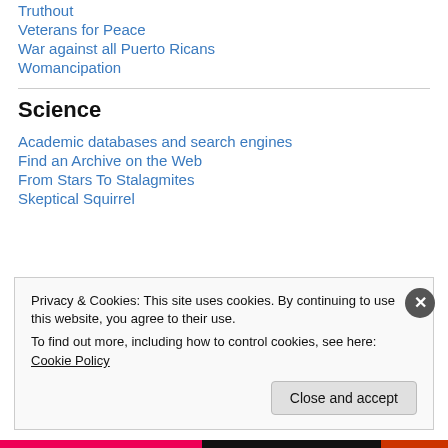Truthout
Veterans for Peace
War against all Puerto Ricans
Womancipation
Science
Academic databases and search engines
Find an Archive on the Web
From Stars To Stalagmites
Skeptical Squirrel
Privacy & Cookies: This site uses cookies. By continuing to use this website, you agree to their use. To find out more, including how to control cookies, see here: Cookie Policy
Close and accept